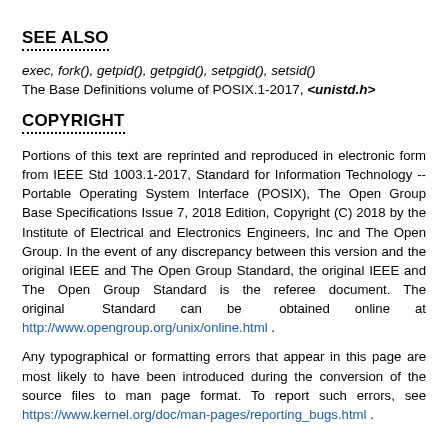SEE ALSO
exec, fork(), getpid(), getpgid(), setpgid(), setsid()
The Base Definitions volume of POSIX.1-2017, <unistd.h>
COPYRIGHT
Portions of this text are reprinted and reproduced in electronic form from IEEE Std 1003.1-2017, Standard for Information Technology -- Portable Operating System Interface (POSIX), The Open Group Base Specifications Issue 7, 2018 Edition, Copyright (C) 2018 by the Institute of Electrical and Electronics Engineers, Inc and The Open Group. In the event of any discrepancy between this version and the original IEEE and The Open Group Standard, the original IEEE and The Open Group Standard is the referee document. The original Standard can be obtained online at http://www.opengroup.org/unix/online.html .
Any typographical or formatting errors that appear in this page are most likely to have been introduced during the conversion of the source files to man page format. To report such errors, see https://www.kernel.org/doc/man-pages/reporting_bugs.html .